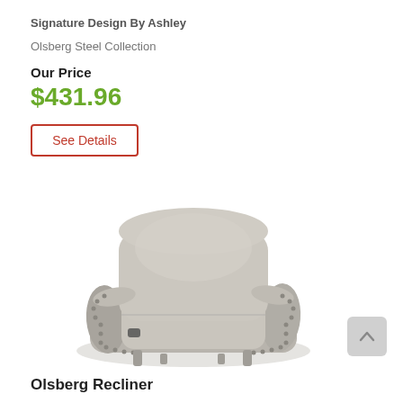Signature Design By Ashley
Olsberg Steel Collection
Our Price
$431.96
See Details
[Figure (photo): Gray upholstered recliner chair with rolled arms and nailhead trim, Olsberg Steel collection by Ashley Furniture]
Olsberg Recliner